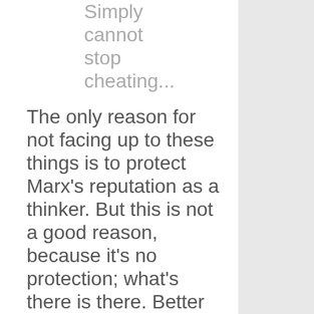Simply cannot stop cheating...
The only reason for not facing up to these things is to protect Marx's reputation as a thinker. But this is not a good reason, because it's no protection; what's there is there. Better to admire Marx for whatever in his work is really worthy of admiration.
Posted by Norm at 03:31 PM | Permalink